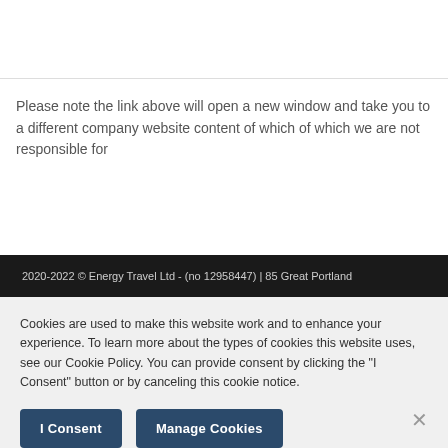[Figure (logo): Energy Travel logo - 'energy' in orange bold text, 'travel' in dark blue below]
Please note the link above will open a new window and take you to a different company website content of which of which we are not responsible for
2020-2022 © Energy Travel Ltd - (no 12958447) | 85 Great Portland
Cookies are used to make this website work and to enhance your experience. To learn more about the types of cookies this website uses, see our Cookie Policy. You can provide consent by clicking the "I Consent" button or by canceling this cookie notice.
I Consent
Manage Cookies